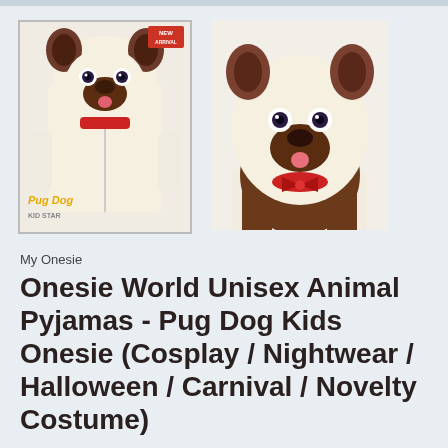[Figure (photo): Two product photos of a Pug Dog onesie costume. Left image shows front view of the costume laid flat with 'NEW ARRIVAL' badge, 'Pug Dog' label in orange/gold text, and 'KID STAR' text at bottom. Right image shows a person wearing the pug dog onesie hood costume with brown fur face, tongue, and red bow.]
My Onesie
Onesie World Unisex Animal Pyjamas - Pug Dog Kids Onesie (Cosplay / Nightwear / Halloween / Carnival / Novelty Costume)